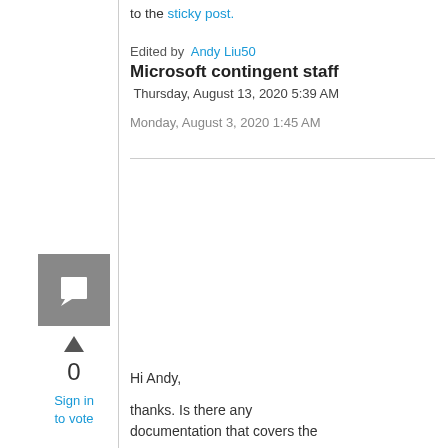For more information, please refer to the sticky post.
Edited by Andy Liu50
Microsoft contingent staff
Thursday, August 13, 2020 5:39 AM
Monday, August 3, 2020 1:45 AM
[Figure (other): User avatar placeholder icon — grey square with a speech bubble icon]
0
Sign in to vote
Hi Andy,
thanks. Is there any documentation that covers the